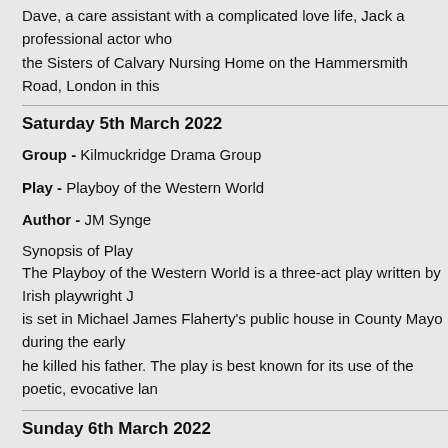Dave, a care assistant with a complicated love life, Jack a professional actor who... the Sisters of Calvary Nursing Home on the Hammersmith Road, London in this...
Saturday 5th March 2022
Group - Kilmuckridge Drama Group
Play - Playboy of the Western World
Author - JM Synge
Synopsis of Play
The Playboy of the Western World is a three-act play written by Irish playwright J... is set in Michael James Flaherty's public house in County Mayo during the early... he killed his father. The play is best known for its use of the poetic, evocative lan...
Sunday 6th March 2022
Group - Kilmeen Drama Group
Play - Conversations on a Home Coming
Author - Tom Murphy
Synopsis of Play